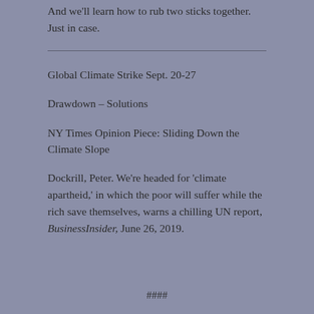And we'll learn how to rub two sticks together. Just in case.
Global Climate Strike Sept. 20-27
Drawdown – Solutions
NY Times Opinion Piece: Sliding Down the Climate Slope
Dockrill, Peter. We're headed for 'climate apartheid,' in which the poor will suffer while the rich save themselves, warns a chilling UN report, BusinessInsider, June 26, 2019.
####